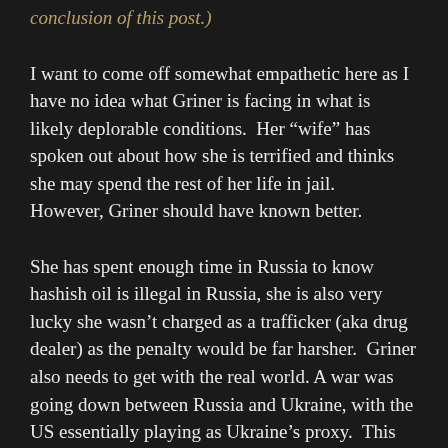conclusion of this post.)
I want to come off somewhat empathetic here as I have no idea what Griner is facing in what is likely deplorable conditions.  Her “wife” has spoken out about how she is terrified and thinks she may spend the rest of her life in jail.  However, Griner should have known better.
She has spent enough time in Russia to know hashish oil is illegal in Russia, she is also very lucky she wasn’t charged as a trafficker (aka drug dealer) as the penalty would be far harsher.  Griner also needs to get with the real world. A war was going down between Russia and Ukraine, with the US essentially playing as Ukraine’s proxy.  This likely didn’t make Russia